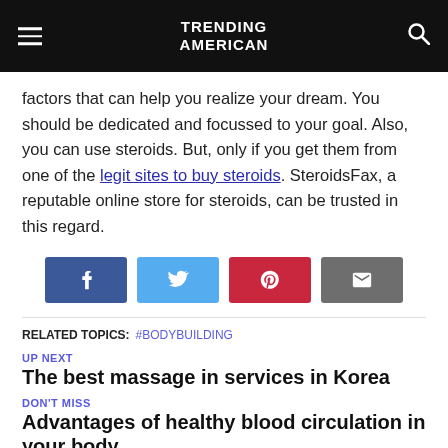TRENDING AMERICAN
factors that can help you realize your dream. You should be dedicated and focussed to your goal. Also, you can use steroids. But, only if you get them from one of the legit sites to buy steroids. SteroidsFax, a reputable online store for steroids, can be trusted in this regard.
[Figure (infographic): Social share buttons: Facebook, Twitter, Pinterest, Email]
RELATED TOPICS: #BODYBUILDING
UP NEXT
The best massage in services in Korea
DON'T MISS
Advantages of healthy blood circulation in your body